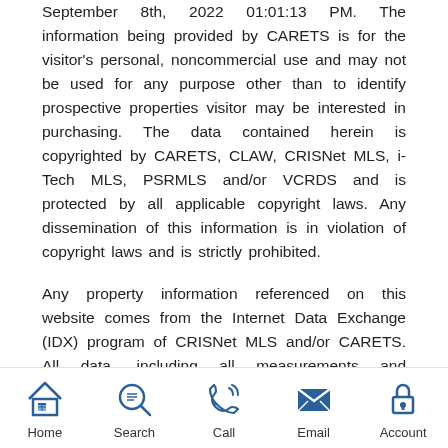September 8th, 2022 01:01:13 PM. The information being provided by CARETS is for the visitor's personal, noncommercial use and may not be used for any purpose other than to identify prospective properties visitor may be interested in purchasing. The data contained herein is copyrighted by CARETS, CLAW, CRISNet MLS, i-Tech MLS, PSRMLS and/or VCRDS and is protected by all applicable copyright laws. Any dissemination of this information is in violation of copyright laws and is strictly prohibited.
Any property information referenced on this website comes from the Internet Data Exchange (IDX) program of CRISNet MLS and/or CARETS. All data, including all measurements and calculations of area, is obtained from various sources and has not been, and will not be, verified by broker or MLS. All information should be independently reviewed and verified for accuracy.
Home | Search | Call | Email | Account